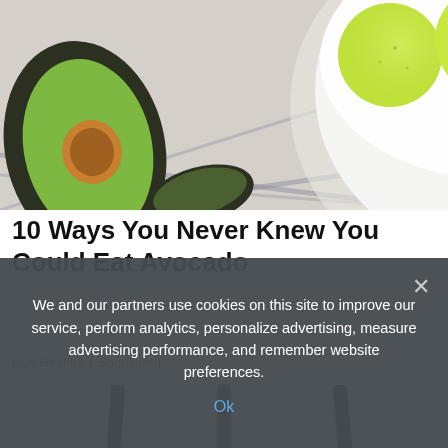[Figure (photo): Top-down photo of avocado halves next to a white bowl containing three scoops of green avocado ice cream on a striped cloth background]
10 Ways You Never Knew You Could Eat Avocado
Live Healthy | Sponsored
[Figure (photo): Partial photo of a WiFi router with three black antennas visible against a white background]
We and our partners use cookies on this site to improve our service, perform analytics, personalize advertising, measure advertising performance, and remember website preferences.
Ok